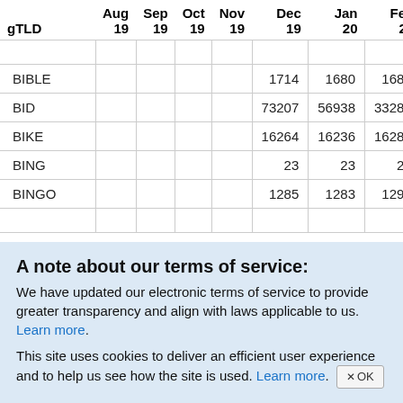| gTLD | Aug 19 | Sep 19 | Oct 19 | Nov 19 | Dec 19 | Jan 20 | Feb 20 | Mar 20 | A 2 |
| --- | --- | --- | --- | --- | --- | --- | --- | --- | --- |
|  |  |  |  |  |  |  |  |  |  |
| BIBLE |  |  |  |  | 1714 | 1680 | 1689 |  |  |
| BID |  |  |  |  | 73207 | 56938 | 33288 |  |  |
| BIKE |  |  |  |  | 16264 | 16236 | 16287 |  |  |
| BING |  |  |  |  | 23 | 23 | 23 |  |  |
| BINGO |  |  |  |  | 1285 | 1283 | 1296 |  |  |
|  |  |  |  |  |  |  |  |  |  |
A note about our terms of service:
We have updated our electronic terms of service to provide greater transparency and align with laws applicable to us. Learn more.
This site uses cookies to deliver an efficient user experience and to help us see how the site is used. Learn more.